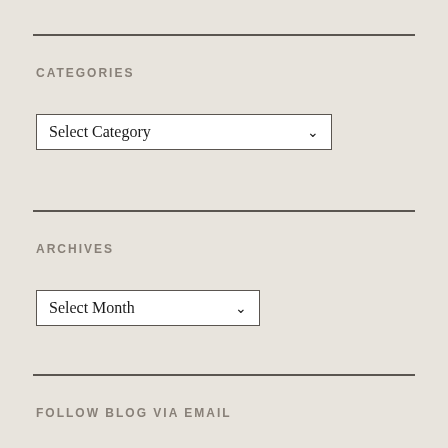CATEGORIES
[Figure (screenshot): Dropdown select box showing 'Select Category' with a chevron arrow]
ARCHIVES
[Figure (screenshot): Dropdown select box showing 'Select Month' with a chevron arrow]
FOLLOW BLOG VIA EMAIL